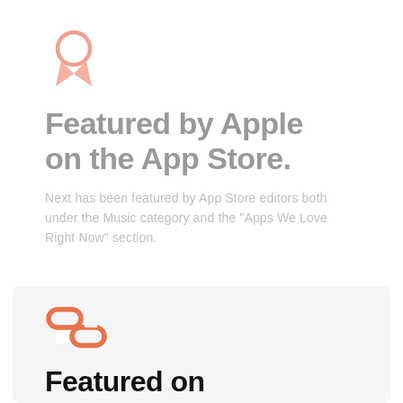[Figure (illustration): Pink/salmon colored ribbon award badge icon]
Featured by Apple on the App Store.
Next has been featured by App Store editors both under the Music category and the "Apps We Love Right Now" section.
[Figure (illustration): Orange chain link icon]
Featured on 9to5Mac.